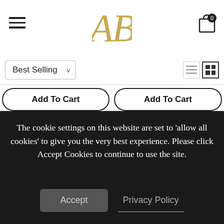[Figure (logo): Arabian Boutique AB logo in gold/serif font]
Best Selling
Add To Cart
Add To Cart
Arabian Boutique Royalty Standard Silk Kaftan
Arabian Boutique Butterfly Sleeve Print V-neck Kaftan - As Photo
★★★★★ 5 reviews
★★★★★ 9 reviews
The cookie settings on this website are set to 'allow all cookies' to give you the very best experience. Please click Accept Cookies to continue to use the site.
Accept
Privacy Policy